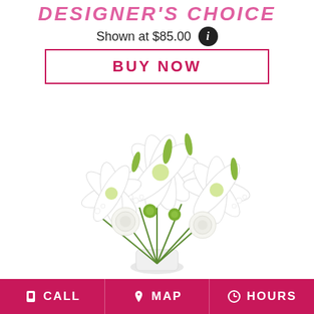DESIGNER'S CHOICE
Shown at $85.00
BUY NOW
[Figure (photo): A floral arrangement featuring white lilies and roses with green accents in a white vase, on a white background.]
CALL   MAP   HOURS